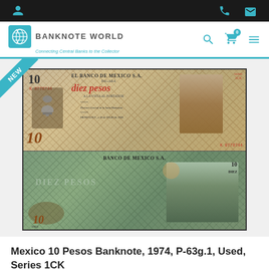Banknote World — top navigation bar with user, phone, mail icons
[Figure (logo): Banknote World logo with teal globe icon, text BANKNOTE WORLD, subtitle Connecting Central Banks to the Collector]
[Figure (photo): Mexico 10 Pesos banknote 1974 P-63g.1 Series 1CK — front showing Hidalgo portrait and bell; reverse showing Dolores cathedral. Both sides shown stacked vertically.]
Mexico 10 Pesos Banknote, 1974, P-63g.1, Used, Series 1CK
As low as